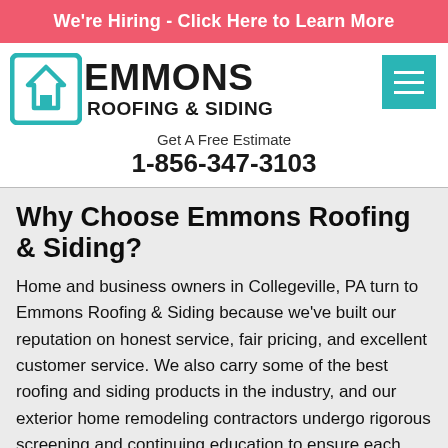We're Hiring - Click Here to Learn More
[Figure (logo): Emmons Roofing & Siding logo with teal house icon and bold black text]
Get A Free Estimate
1-856-347-3103
Why Choose Emmons Roofing & Siding?
Home and business owners in Collegeville, PA turn to Emmons Roofing & Siding because we've built our reputation on honest service, fair pricing, and excellent customer service. We also carry some of the best roofing and siding products in the industry, and our exterior home remodeling contractors undergo rigorous screening and continuing education to ensure each project is completed